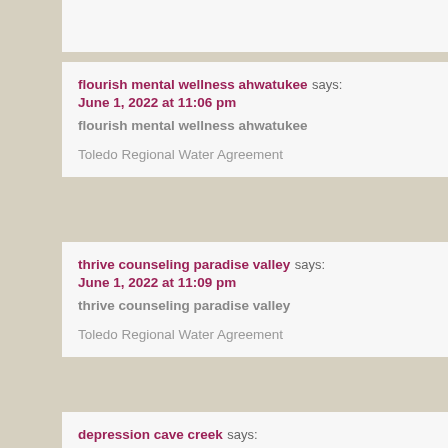flourish mental wellness ahwatukee says:
June 1, 2022 at 11:06 pm
flourish mental wellness ahwatukee

Toledo Regional Water Agreement
thrive counseling paradise valley says:
June 1, 2022 at 11:09 pm
thrive counseling paradise valley

Toledo Regional Water Agreement
depression cave creek says:
June 1, 2022 at 11:26 pm
depression cave creek

Toledo Regional Water Agreement